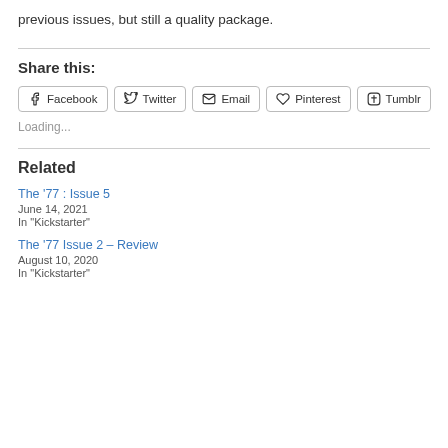previous issues, but still a quality package.
Share this:
Facebook  Twitter  Email  Pinterest  Tumblr
Loading...
Related
The '77 : Issue 5
June 14, 2021
In "Kickstarter"
The '77 Issue 2 – Review
August 10, 2020
In "Kickstarter"